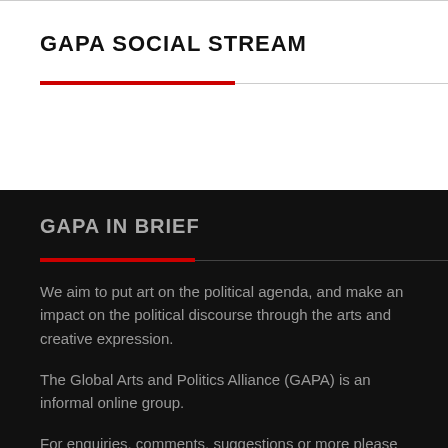GAPA SOCIAL STREAM
GAPA IN BRIEF
We aim to put art on the political agenda, and make an impact on the political discourse through the arts and creative expression.
The Global Arts and Politics Alliance (GAPA) is an informal online group.
For enquiries, comments, suggestions or more please contact us at
gapa.ngo.office[at]gmail.com